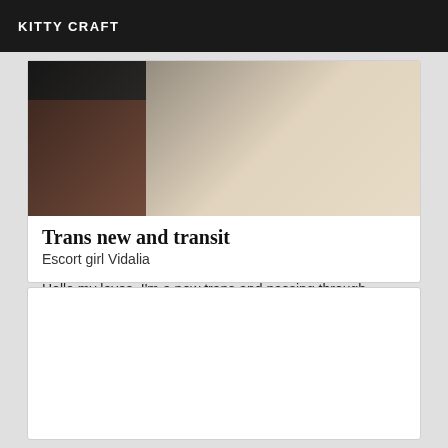KITTY CRAFT
[Figure (photo): Bedroom photo showing a dark nightstand or dresser with items on top, and a white/cream patterned bedsheet or bedcover on the right side.]
Trans new and transit
Escort girl Vidalia
Hello my loves. I'm a new trans and passing through Vidalia for a few days in Downtown Vidalia. Versatile. Do not hesitate to join me. No hidden calls or messages. Big kisses